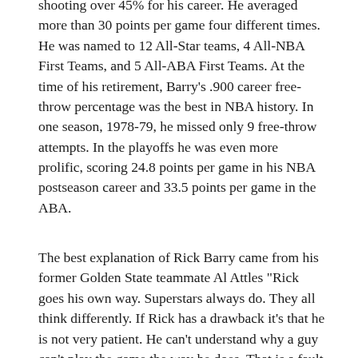shooting over 45% for his career. He averaged more than 30 points per game four different times. He was named to 12 All-Star teams, 4 All-NBA First Teams, and 5 All-ABA First Teams. At the time of his retirement, Barry's .900 career free-throw percentage was the best in NBA history. In one season, 1978-79, he missed only 9 free-throw attempts. In the playoffs he was even more prolific, scoring 24.8 points per game in his NBA postseason career and 33.5 points per game in the ABA.
The best explanation of Rick Barry came from his former Golden State teammate Al Attles "Rick goes his own way. Superstars always do. They all think differently. If Rick has a drawback it's that he is not very patient. He can't understand why a guy can't play the game the way he does. That is a fault of all superstars. You may say of these people that they aren't regular guys. Well...they aren't." . All of his exploits have gone well documented and perhaps he is an asshole. But don't let his exploits blind you